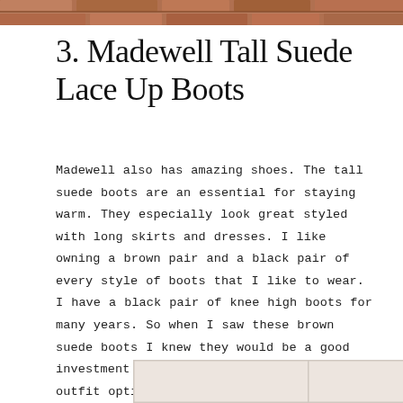[Figure (photo): Top portion of a brick/stone surface image, partially visible at the top of the page]
3. Madewell Tall Suede Lace Up Boots
Madewell also has amazing shoes. The tall suede boots are an essential for staying warm. They especially look great styled with long skirts and dresses. I like owning a brown pair and a black pair of every style of boots that I like to wear. I have a black pair of knee high boots for many years. So when I saw these brown suede boots I knew they would be a good investment for fall. There are so many outfit options.
[Figure (photo): Partial product images at the bottom of the page, two panels visible]
[Figure (photo): Second partial product image at bottom right]